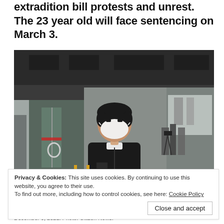extradition bill protests and unrest. The 23 year old will face sentencing on March 3.
[Figure (photo): A young Asian man wearing a black puffer jacket and white face mask stands in front of a modern building entrance. Media cameras and reporters are visible in the background to the right.]
Privacy & Cookies: This site uses cookies. By continuing to use this website, you agree to their use.
To find out more, including how to control cookies, see here: Cookie Policy
Close and accept
December 6, 2021. Photo: Citizen News.